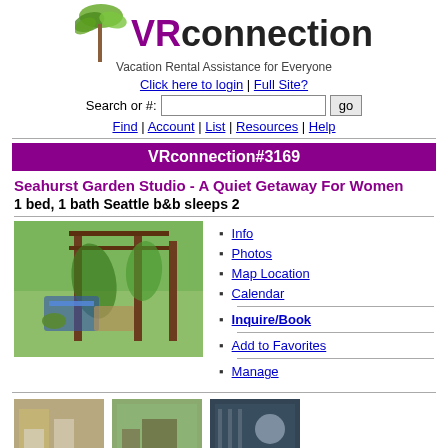[Figure (logo): VRconnection logo with palm tree icon and text 'Vacation Rental Assistance for Everyone']
Click here to login | Full Site?
Search or #: [input] go
Find | Account | List | Resources | Help
VRconnection#3169
Seahurst Garden Studio - A Quiet Getaway For Women
1 bed, 1 bath Seattle b&b sleeps 2
[Figure (photo): Garden patio area with chairs and wooden pergola surrounded by green plants]
Info
Photos
Map Location
Calendar
Inquire/Book
Add to Favorites
Manage
[Figure (photo): Kitchen interior thumbnail]
[Figure (photo): Office/desk area thumbnail]
[Figure (photo): Bird on fence/cage thumbnail]